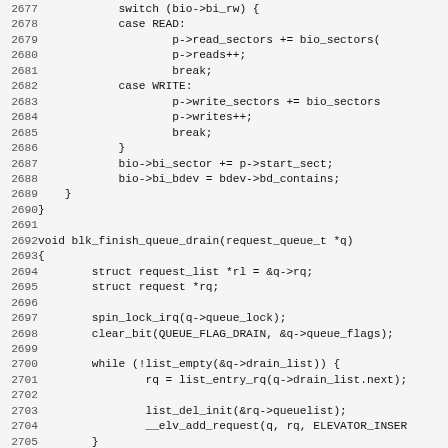[Figure (other): Source code listing in C (lines 2677-2708), showing a switch statement and blk_finish_queue_drain function implementation]